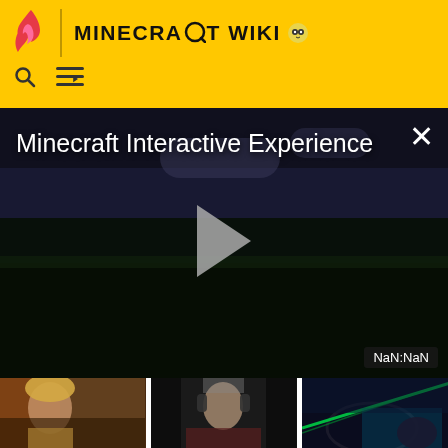MINECRAFT WIKI
[Figure (screenshot): Minecraft Interactive Experience video player showing a dark nighttime Minecraft landscape scene with a play button in the center, title 'Minecraft Interactive Experience' at top left, close button (X) at top right, and NaN:NaN timestamp badge at bottom right]
[Figure (screenshot): Bottom thumbnail strip showing three images: a fantasy game character (female warrior), a person wearing headphones in a dark setting, and gaming headphones with green laser light]